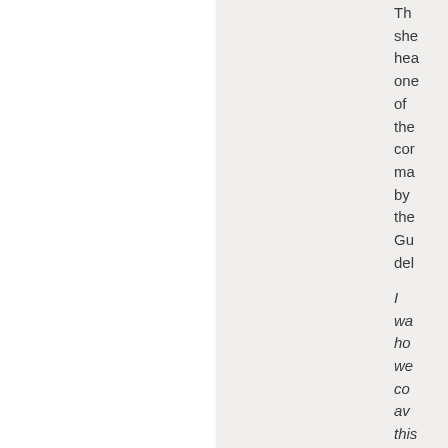The she hea one of the cor ma by the Gu del
I wa ho we cou av this sor of thi not I